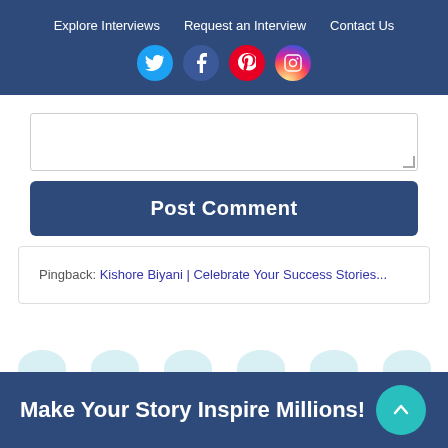Explore Interviews | Request an Interview | Contact Us
[Figure (other): Social media icons: Twitter, Facebook, Pinterest, Instagram]
[Figure (other): Comment text area input box]
Post Comment
Pingback: Kishore Biyani | Celebrate Your Success Stories...
[Figure (other): Decorative teal semicircle shapes row]
Make Your Story Inspire Millions!